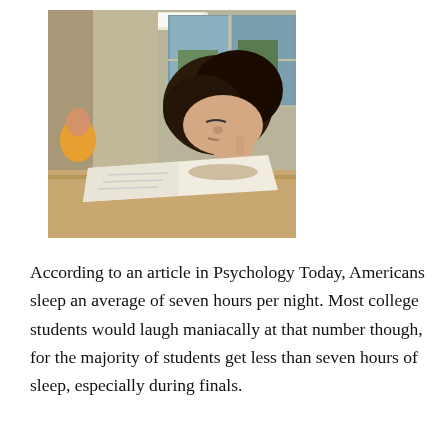[Figure (photo): A college student resting her head on a desk next to an open book or notebook, appearing to be asleep or very tired. The photo is taken from a low angle in what appears to be a classroom or library setting with large windows visible in the background.]
According to an article in Psychology Today, Americans sleep an average of seven hours per night. Most college students would laugh maniacally at that number though, for the majority of students get less than seven hours of sleep, especially during finals.